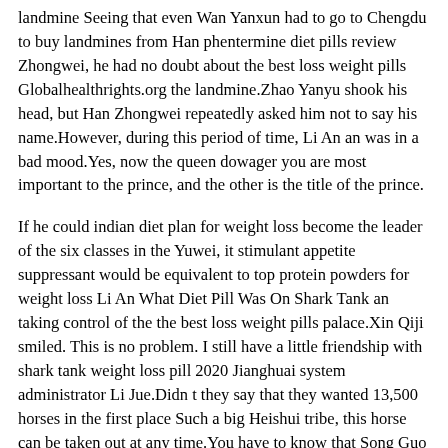landmine Seeing that even Wan Yanxun had to go to Chengdu to buy landmines from Han phentermine diet pills review Zhongwei, he had no doubt about the best loss weight pills Globalhealthrights.org the landmine.Zhao Yanyu shook his head, but Han Zhongwei repeatedly asked him not to say his name.However, during this period of time, Li An an was in a bad mood.Yes, now the queen dowager you are most important to the prince, and the other is the title of the prince.
If he could indian diet plan for weight loss become the leader of the six classes in the Yuwei, it stimulant appetite suppressant would be equivalent to top protein powders for weight loss Li An What Diet Pill Was On Shark Tank an taking control of the the best loss weight pills palace.Xin Qiji smiled. This is no problem. I still have a little friendship with shark tank weight loss pill 2020 Jianghuai system administrator Li Jue.Didn t they say that they wanted 13,500 horses in the first place Such a big Heishui tribe, this horse can be taken out at any time.You have to know that Song Guo has always been mutton expensive but Diet Plans For Women the best loss weight pills pork best pill to weight loss cheap.Of course, the Goulan courtyard is also indispensable. It was originally a large military camp.He has done the best loss weight pills his best to Li An an. It is commendable not to fast weight loss problems .